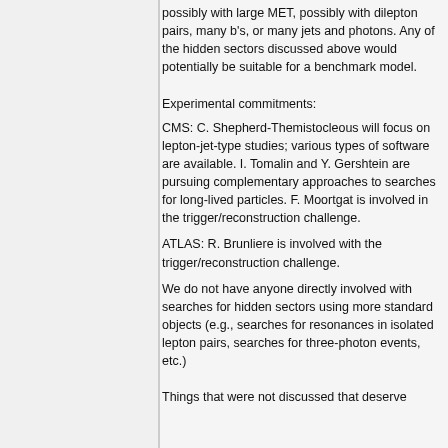possibly with large MET, possibly with dilepton pairs, many b's, or many jets and photons. Any of the hidden sectors discussed above would potentially be suitable for a benchmark model.
Experimental commitments:
CMS: C. Shepherd-Themistocleous will focus on lepton-jet-type studies; various types of software are available. I. Tomalin and Y. Gershtein are pursuing complementary approaches to searches for long-lived particles. F. Moortgat is involved in the trigger/reconstruction challenge.
ATLAS: R. Brunliere is involved with the trigger/reconstruction challenge.
We do not have anyone directly involved with searches for hidden sectors using more standard objects (e.g., searches for resonances in isolated lepton pairs, searches for three-photon events, etc.)
Things that were not discussed that deserve